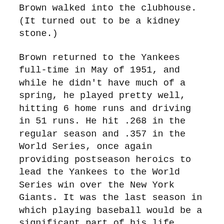Brown walked into the clubhouse. (It turned out to be a kidney stone.)
Brown returned to the Yankees full-time in May of 1951, and while he didn't have much of a spring, he played pretty well, hitting 6 home runs and driving in 51 runs. He hit .268 in the regular season and .357 in the World Series, once again providing postseason heroics to lead the Yankees to the World Series win over the New York Giants. It was the last season in which playing baseball would be a significant part of his life.
It was known that Brown would be called away by the Army to serve as a doctor at some point in the future. It finally happened in July of 1952.